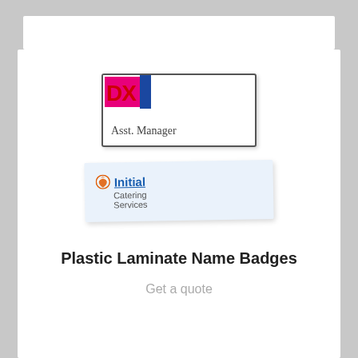[Figure (photo): Two plastic laminate name badges. The first badge is white with a DX Communicator logo (red DX letters on magenta/blue background) in the top right corner and 'Asst. Manager' text in the lower left. The second badge has a light blue background with the Initial Catering Services logo (circular orange/red icon) and blue underlined 'Initial' text with 'Catering Services' subtitle.]
Plastic Laminate Name Badges
Get a quote